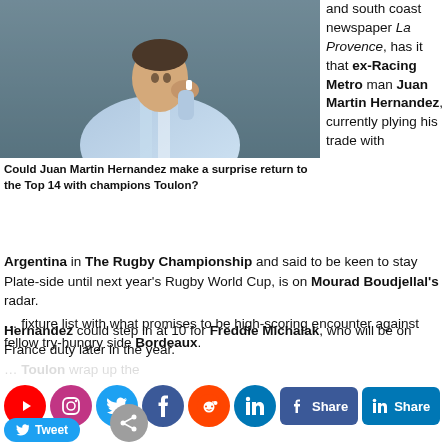[Figure (photo): Rugby player in light blue and white Argentina jersey, holding his hand near his face, finger taped, crowd in background]
Could Juan Martin Hernandez make a surprise return to the Top 14 with champions Toulon?
and south coast newspaper La Provence, has it that ex-Racing Metro man Juan Martin Hernandez, currently plying his trade with Argentina in The Rugby Championship and said to be keen to stay Plate-side until next year's Rugby World Cup, is on Mourad Boudjellal's radar.
Hernandez could step in at 10 for Freddie Michalak, who will be on France duty later in the year.
Toulon wrap up the fixture list with what promises to be high-scoring encounter against fellow try-hungry side Bordeaux.